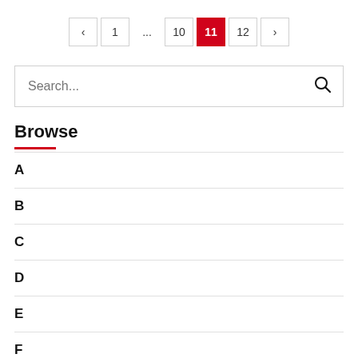[Figure (other): Pagination control showing pages: left arrow, 1, ..., 10, 11 (active/highlighted in red), 12, right arrow]
[Figure (other): Search input box with placeholder text 'Search...' and a search icon on the right]
Browse
A
B
C
D
E
F